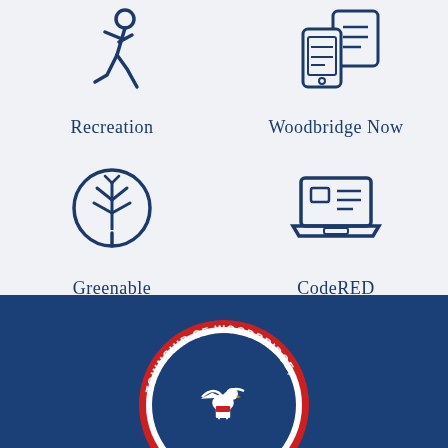[Figure (infographic): Four icons arranged in 2x2 grid: running person (Recreation), phone/message (Woodbridge Now), tree in circle (Greenable), laptop (CodeRED)]
[Figure (logo): Woodbridge Township official seal/logo on dark blue background, circular seal with eagle and text 'TOWNSHIP OF WOODBRIDGE, NJ']